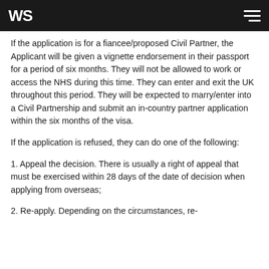WS
If the application is for a fiancee/proposed Civil Partner, the Applicant will be given a vignette endorsement in their passport for a period of six months. They will not be allowed to work or access the NHS during this time. They can enter and exit the UK throughout this period. They will be expected to marry/enter into a Civil Partnership and submit an in-country partner application within the six months of the visa.
If the application is refused, they can do one of the following:
1. Appeal the decision. There is usually a right of appeal that must be exercised within 28 days of the date of decision when applying from overseas;
2. Re-apply. Depending on the circumstances, re-